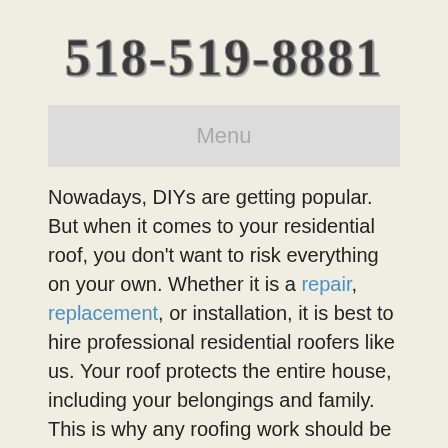518-519-8881
Menu
Nowadays, DIYs are getting popular. But when it comes to your residential roof, you don't want to risk everything on your own. Whether it is a repair, replacement, or installation, it is best to hire professional residential roofers like us. Your roof protects the entire house, including your belongings and family. This is why any roofing work should be handled by experts. At Roofers Albany, NY Pros, we guarantee 100% satisfaction because we do detailed work like none!
Not long ago, there were limited options for residential